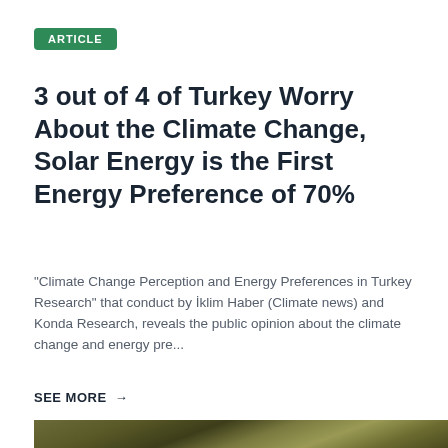ARTICLE
3 out of 4 of Turkey Worry About the Climate Change, Solar Energy is the First Energy Preference of 70%
"Climate Change Perception and Energy Preferences in Turkey Research" that conduct by İklim Haber (Climate news) and Konda Research, reveals the public opinion about the climate change and energy pre...
SEE MORE →
[Figure (photo): Close-up photograph of yellowish-green foliage or plant material with dark tones, partially visible at the bottom of the page]